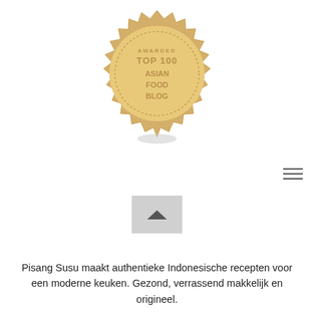[Figure (logo): Gold badge awarded Top 100 Asian Food Blog]
[Figure (other): Hamburger menu icon (three horizontal lines) in top right corner]
[Figure (other): Back to top button with upward chevron arrow on grey background]
Pisang Susu maakt authentieke Indonesische recepten voor een moderne keuken. Gezond, verrassend makkelijk en origineel.